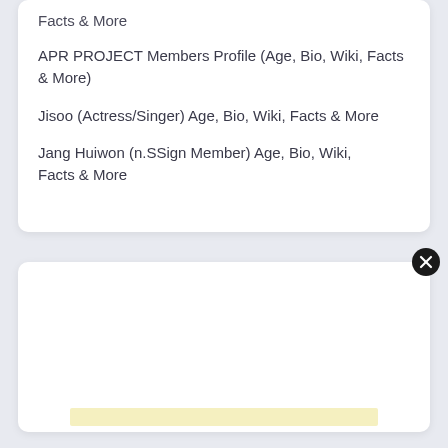Facts & More
APR PROJECT Members Profile (Age, Bio, Wiki, Facts & More)
Jisoo (Actress/Singer) Age, Bio, Wiki, Facts & More
Jang Huiwon (n.SSign Member) Age, Bio, Wiki, Facts & More
[Figure (screenshot): White modal/ad card with a close (X) button in the top-right corner, and a light yellow bar at the bottom of the page area.]